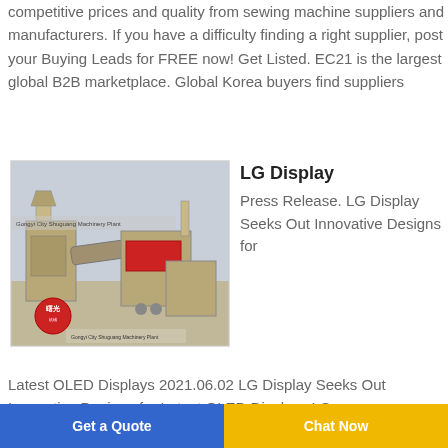competitive prices and quality from sewing machine suppliers and manufacturers. If you have a difficulty finding a right supplier, post your Buying Leads for FREE now! Get Listed. EC21 is the largest global B2B marketplace. Global Korea buyers find suppliers
[Figure (photo): Industrial machinery photo from Gongyi City Shuguang Machinery Plant showing processing/recycling equipment with conveyor belts and hoppers, with Chinese text and logo overlay.]
LG Display
Press Release. LG Display Seeks Out Innovative Designs for
Latest OLED Displays 2021.06.02 LG Display Seeks Out Innovative Designs for Latest OLED Displays LG...
Get a Quote | Chat Now